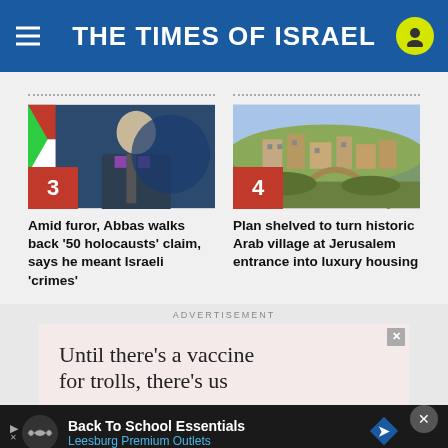THE TIMES OF ISRAEL
[Figure (photo): Photo of Mahmoud Abbas at a podium with a Palestinian flag behind him, numbered article 3]
Amid furor, Abbas walks back '50 holocausts' claim, says he meant Israeli 'crimes'
[Figure (photo): Aerial photo of a historic Arab village near Jerusalem, numbered article 4]
Plan shelved to turn historic Arab village at Jerusalem entrance into luxury housing
ADVERTISEMENT
[Figure (screenshot): Advertisement: 'Until there’s a vaccine for trolls, there’s us']
[Figure (screenshot): Bottom banner ad: Back To School Essentials – Leesburg Premium Outlets]